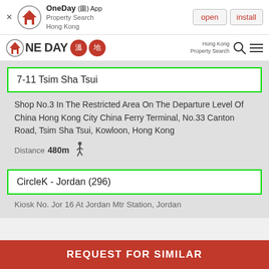[Figure (screenshot): App install banner for OneDay App - Property Search Hong Kong with open and install buttons]
[Figure (logo): OneDay property search Hong Kong logo with Chinese characters and navigation icons]
7-11 Tsim Sha Tsui
Shop No.3 In The Restricted Area On The Departure Level Of China Hong Kong City China Ferry Terminal, No.33 Canton Road, Tsim Sha Tsui, Kowloon, Hong Kong
Distance 480m
CircleK - Jordan (296)
Kiosk No. Jor 16 At Jordan Mtr Station, Jordan
REQUEST FOR SIMILAR